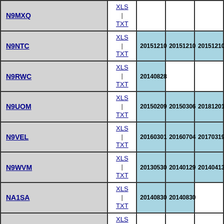| Name | Format | Date1 | Date2 | Date3 |
| --- | --- | --- | --- | --- |
| N9MXQ | XLS | TXT |  |  |  |
| N9NTC | XLS | TXT | 20151210 | 20151210 | 20151210 |
| N9RWC | XLS | TXT | 20140828 |  |  |
| N9UOM | XLS | TXT | 20150209 | 20150306 | 20181201 |
| N9VEL | XLS | TXT | 20160301 | 20160704 | 20170319 |
| N9WVM | XLS | TXT | 20130530 | 20140129 | 20140413 |
| NA1SA | XLS | TXT | 20140830 | 20140830 |  |
| NA6AF | XLS | TXT |  |  |  |
| (partial) | XLS |  |  |  |